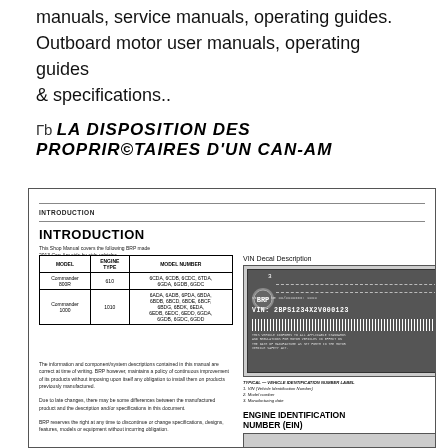manuals, service manuals, operating guides. Outboard motor user manuals, operating guides & specifications..
Гb LA DISPOSITION DES PROPRIr©TAIRES D'UN CAN-AM
[Figure (screenshot): Scanned page from a BRP Can-Am 2013 Shop Manual showing INTRODUCTION section with model table listing Commander 800R and Commander 1000 model numbers, VIN Decal Description image, and ENGINE IDENTIFICATION NUMBER (EIN) section]
| MODEL | ENGINE TYPE | MODEL NUMBER |
| --- | --- | --- |
| Commander 800R | 610 | 6CDA, 6CDB, 6CDC, 6TDA, 6GDA, 6GDB, 6GDC |
| Commander 1000 | 1010 | 6ADA, 6ADB, 6PDA, 6BDA, 6BDB, 6BCD, 6BDE, 6BCF, 6BDG, 6BDK, 6EDA, 6EDB, 6EDC, 6EDD, 6GDA, 6GDB, 6GDC, 6GDD |
TYPICAL — VEHICLE IDENTIFICATION NUMBER LABEL
1. VIN (Vehicle Identification Number)
2. Model number
3. Manufacturing date
ENGINE IDENTIFICATION NUMBER (EIN)